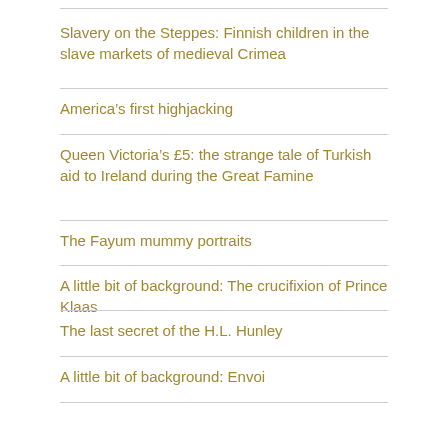Slavery on the Steppes: Finnish children in the slave markets of medieval Crimea
America’s first highjacking
Queen Victoria’s ¥5: the strange tale of Turkish aid to Ireland during the Great Famine
The Fayum mummy portraits
A little bit of background: The crucifixion of Prince Klaas
The last secret of the H.L. Hunley
A little bit of background: Envoi